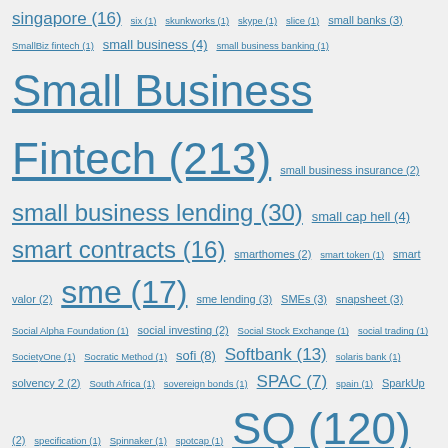singapore (16) six (1) skunkworks (1) skype (1) slice (1) small banks (3) SmallBiz fintech (1) small business (4) small business banking (1) Small Business Fintech (213) small business insurance (2) small business lending (30) small cap hell (4) smart contracts (16) smarthomes (2) smart token (1) smart valor (2) sme (17) sme lending (3) SMEs (3) snapsheet (3) Social Alpha Foundation (1) social investing (2) Social Stock Exchange (1) social trading (1) SocietyOne (1) Socratic Method (1) sofi (8) Softbank (13) solaris bank (1) solvency 2 (2) South Africa (1) sovereign bonds (1) SPAC (7) spain (1) SparkUp (2) specification (1) Spinnaker (1) spotcap (1) SQ (120) square (123) Square Capital (1) SRI (1) SS&CTechnologies (5) SSNC (5) stablecoin (32) Stablecoins (106) Standard Chartered (1) Starling (6) startup (5) startupbootcamp (5) startups (5)